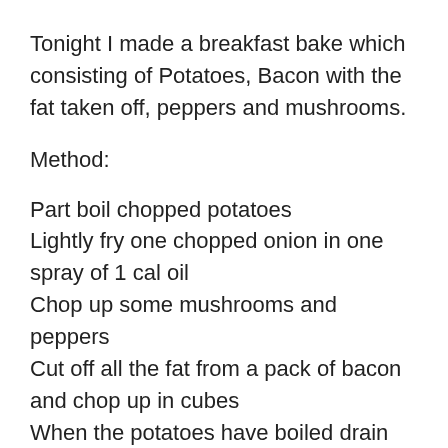Tonight I made a breakfast bake which consisting of Potatoes, Bacon with the fat taken off, peppers and mushrooms.
Method:
Part boil chopped potatoes
Lightly fry one chopped onion in one spray of 1 cal oil
Chop up some mushrooms and peppers
Cut off all the fat from a pack of bacon and chop up in cubes
When the potatoes have boiled drain and place in a baking tray. Add the Bacon, mushrooms and peppers, mix and place in the oven.